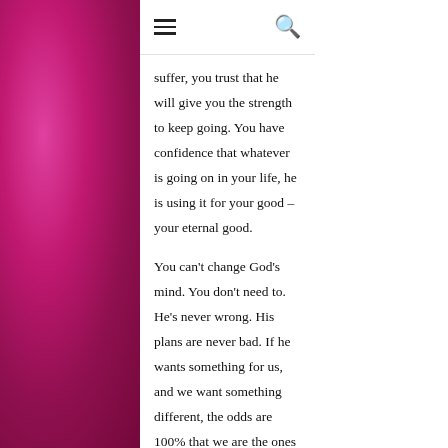☰   🔍
suffer, you trust that he will give you the strength to keep going. You have confidence that whatever is going on in your life, he is using it for your good – your eternal good.

You can't change God's mind. You don't need to. He's never wrong. His plans are never bad. If he wants something for us, and we want something different, the odds are 100% that we are the ones who need to change our minds. To me, that revelation was such a huge relief. I can still tell God what I want to happen, and because he loves me, he will listen. But I don't have to worry about trying to control everything by praying for it. All I